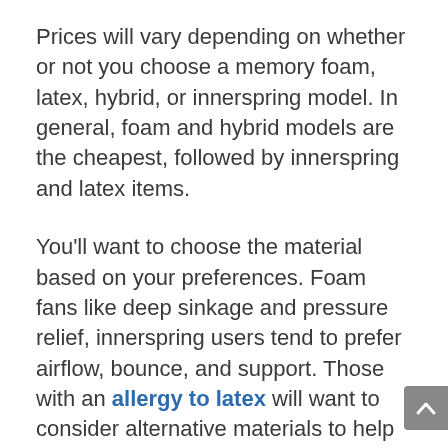Prices will vary depending on whether or not you choose a memory foam, latex, hybrid, or innerspring model. In general, foam and hybrid models are the cheapest, followed by innerspring and latex items.
You'll want to choose the material based on your preferences. Foam fans like deep sinkage and pressure relief, innerspring users tend to prefer airflow, bounce, and support. Those with an allergy to latex will want to consider alternative materials to help ease the effects of their sensitivities.
Outside factors that could play a part in choosing a material could range from health issues to pets. If you are in need of a heated